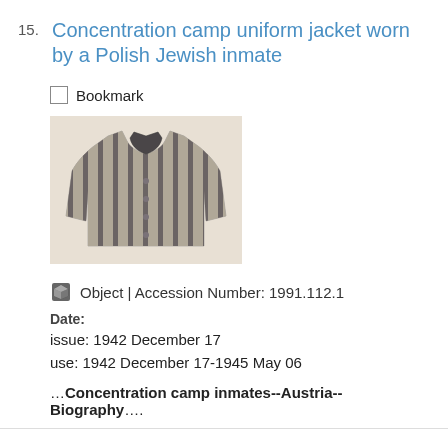15. Concentration camp uniform jacket worn by a Polish Jewish inmate
Bookmark
[Figure (photo): Photo of a striped concentration camp uniform jacket, displayed on a beige/cream background]
Object | Accession Number: 1991.112.1
Date:
issue: 1942 December 17
use: 1942 December 17-1945 May 06
…Concentration camp inmates--Austria--Biography….
16. Hungarian 5 pengo paper note issued by the Soviet Army owned by a Hungarian Jewish youth and former concentration